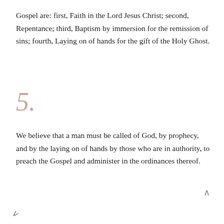Gospel are: first, Faith in the Lord Jesus Christ; second, Repentance; third, Baptism by immersion for the remission of sins; fourth, Laying on of hands for the gift of the Holy Ghost.
5.
We believe that a man must be called of God, by prophecy, and by the laying on of hands by those who are in authority, to preach the Gospel and administer in the ordinances thereof.